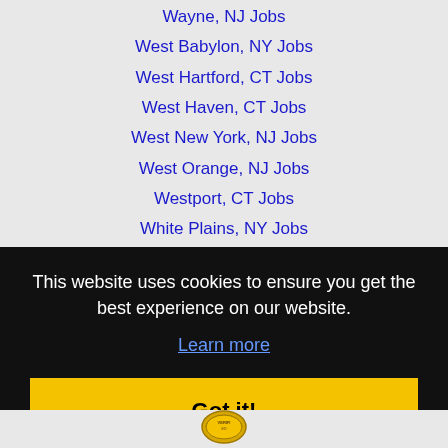Wayne, NJ Jobs
West Babylon, NY Jobs
West Hartford, CT Jobs
West Haven, CT Jobs
West New York, NJ Jobs
West Orange, NJ Jobs
Westport, CT Jobs
White Plains, NY Jobs
Yonkers, NY Jobs
This website uses cookies to ensure you get the best experience on our website.
Learn more
Got it!
[Figure (logo): Certification seal logo at bottom of page]